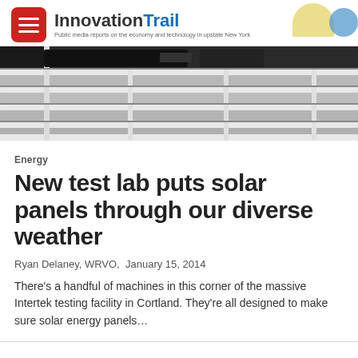InnovationTrail – Public media reports on the economy and technology in upstate New York
[Figure (photo): Close-up photograph of white-framed solar panels, showing the metallic rails and glass panels arranged in rows.]
Energy
New test lab puts solar panels through our diverse weather
Ryan Delaney, WRVO,  January 15, 2014
There's a handful of machines in this corner of the massive Intertek testing facility in Cortland. They're all designed to make sure solar energy panels…